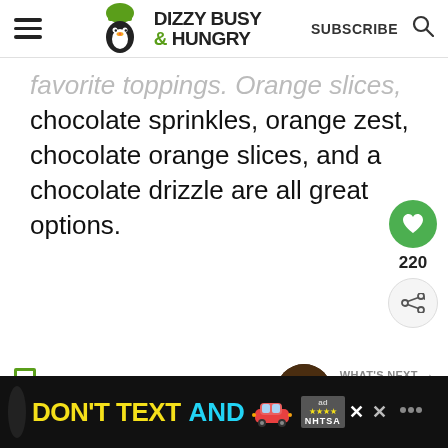Dizzy Busy & Hungry — SUBSCRIBE
favorite toppings. Orange slices, chocolate sprinkles, orange zest, chocolate orange slices, and a chocolate drizzle are all great options.
FAQs
[Figure (screenshot): WHAT'S NEXT arrow — Malted Chocolate... thumbnail]
[Figure (screenshot): Ad banner: DON'T TEXT AND [car emoji] — NHTSA ad with close buttons]